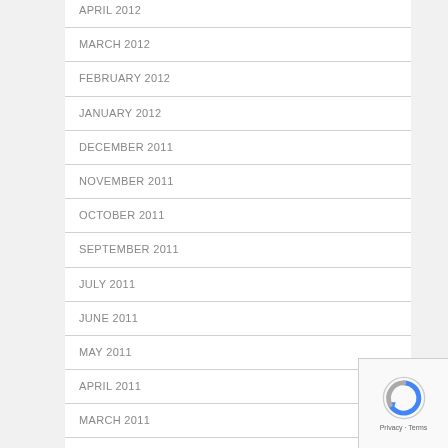APRIL 2012
MARCH 2012
FEBRUARY 2012
JANUARY 2012
DECEMBER 2011
NOVEMBER 2011
OCTOBER 2011
SEPTEMBER 2011
JULY 2011
JUNE 2011
MAY 2011
APRIL 2011
MARCH 2011
FEBRUARY 2011
DECEMBER 2010
NOVEMBER 2010
OCTOBER 2010